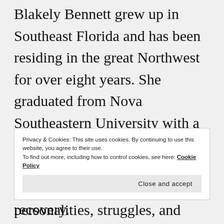Blakely Bennett grew up in Southeast Florida and has been residing in the great Northwest for over eight years. She graduated from Nova Southeastern University with a degree in psychology, which accounts for her particular interest in crafting the personalities, struggles, and motivations of her characters. She is an avid reader of
Privacy & Cookies: This site uses cookies. By continuing to use this website, you agree to their use.
To find out more, including how to control cookies, see here: Cookie Policy
Close and accept
recovery.